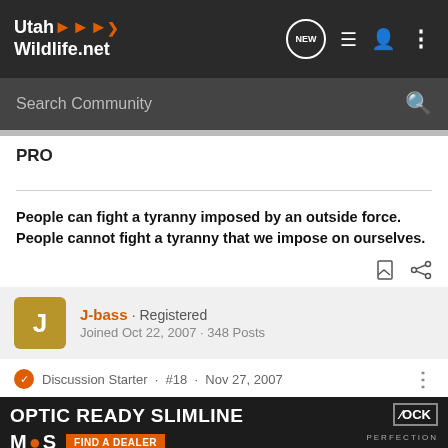UtahWildlife.net
Search Community
PRO
People can fight a tyranny imposed by an outside force. People cannot fight a tyranny that we impose on ourselves.
J-bass · Registered
Joined Oct 22, 2007 · 348 Posts
Discussion Starter · #18 · Nov 27, 2007
[Figure (screenshot): OPTIC READY SLIMLINE advertisement banner with MOS logo, FIND A DEALER button, Glock logo, and handgun image]
.45 sa